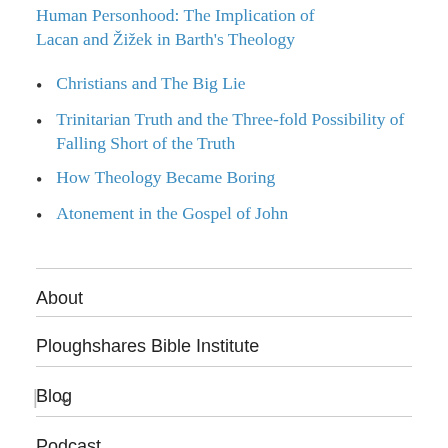Human Personhood: The Implication of Lacan and Žižek in Barth's Theology
Christians and The Big Lie
Trinitarian Truth and the Three-fold Possibility of Falling Short of the Truth
How Theology Became Boring
Atonement in the Gospel of John
About
Ploughshares Bible Institute
Blog
Podcast